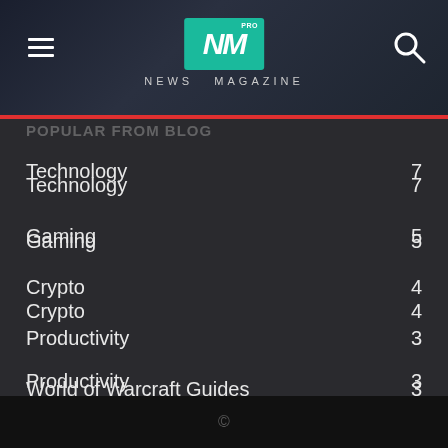NM PRO NEWS MAGAZINE
POPULAR FROM BLOG
Technology 7
Gaming 5
Crypto 4
Productivity 3
World of Warcraft Guides 3
Movies 2
TV 2
News 2
Gadgets 1
©